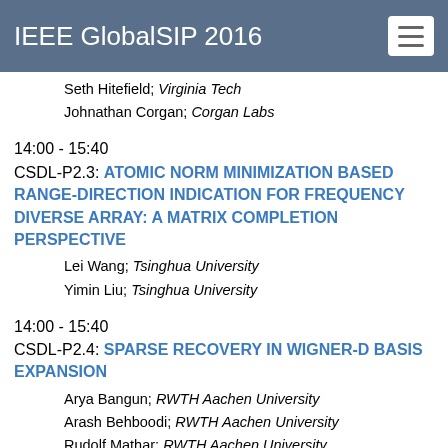IEEE GlobalSIP 2016
Seth Hitefield; Virginia Tech
Johnathan Corgan; Corgan Labs
14:00 - 15:40
CSDL-P2.3: ATOMIC NORM MINIMIZATION BASED RANGE-DIRECTION INDICATION FOR FREQUENCY DIVERSE ARRAY: A MATRIX COMPLETION PERSPECTIVE
Lei Wang; Tsinghua University
Yimin Liu; Tsinghua University
14:00 - 15:40
CSDL-P2.4: SPARSE RECOVERY IN WIGNER-D BASIS EXPANSION
Arya Bangun; RWTH Aachen University
Arash Behboodi; RWTH Aachen University
Rudolf Mathar; RWTH Aachen University
14:00 - 15:40
CSDL-P2.5: DICTIONARY LEARNING FOR SPARSE REPRESENTATION USING WEIGHTED L1-NORM